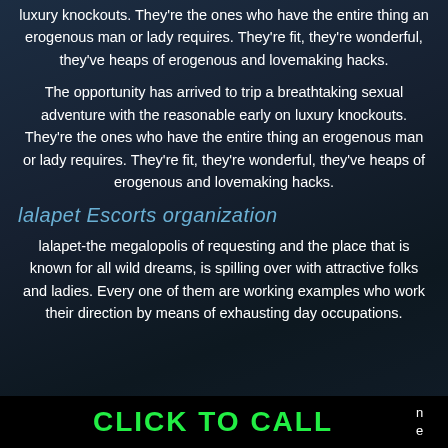luxury knockouts. They're the ones who have the entire thing an erogenous man or lady requires. They're fit, they're wonderful, they've heaps of erogenous and lovemaking hacks.
The opportunity has arrived to trip a breathtaking sexual adventure with the reasonable early on luxury knockouts. They're the ones who have the entire thing an erogenous man or lady requires. They're fit, they're wonderful, they've heaps of erogenous and lovemaking hacks.
lalapet Escorts organization
lalapet-the megalopolis of requesting and the place that is known for all wild dreams, is spilling over with attractive folks and ladies. Every one of them are working examples who work their direction by means of exhausting day occupations.
CLICK TO CALL